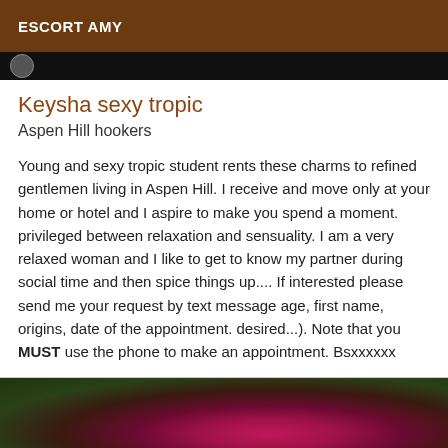ESCORT AMY
Keysha sexy tropic
Aspen Hill hookers
Young and sexy tropic student rents these charms to refined gentlemen living in Aspen Hill. I receive and move only at your home or hotel and I aspire to make you spend a moment. privileged between relaxation and sensuality. I am a very relaxed woman and I like to get to know my partner during social time and then spice things up.... If interested please send me your request by text message age, first name, origins, date of the appointment. desired...). Note that you MUST use the phone to make an appointment. Bsxxxxxx
[Figure (photo): Blurred photo of a red/pink flower (likely a rose) against a green background]